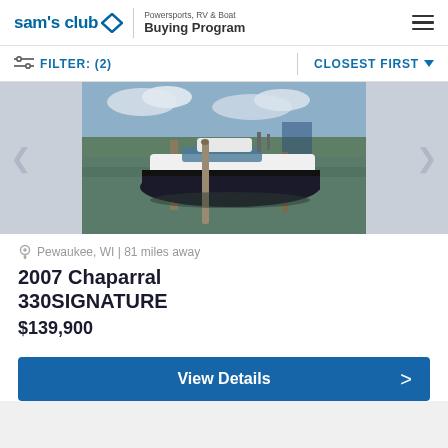Sam's Club | Powersports, RV & Boat Buying Program
FILTER: (2)   CLOSEST FIRST
[Figure (photo): Photo of a 2007 Chaparral 330 Signature boat docked at a marina, black and white hull, cloudy sky background]
Pewaukee, WI | 81 miles away
2007 Chaparral 330SIGNATURE
$139,900
View Details